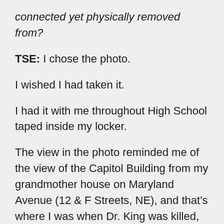connected yet physically removed from?
TSE: I chose the photo.
I wished I had taken it.
I had it with me throughout High School taped inside my locker.
The view in the photo reminded me of the view of the Capitol Building from my grandmother house on Maryland Avenue (12 & F Streets, NE), and that's where I was when Dr. King was killed, out front playing Dumb School on her steps as the noise and news rose up from H Street. All of my poems are noise and nuance. I got rid of the news. It wasn't until I wrote “View of the Library of Congress from